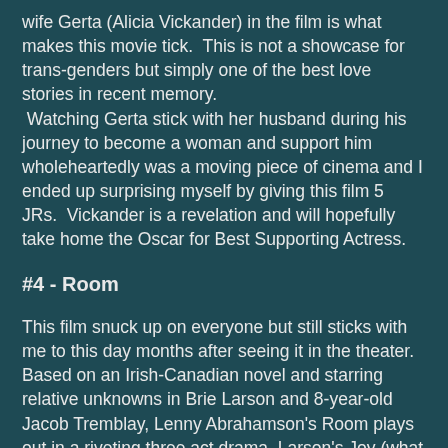wife Gerta (Alicia Vickander) in the film is what makes this movie tick.  This is not a showcase for trans-genders but simply one of the best love stories in recent memory.  Watching Gerta stick with her husband during his journey to become a woman and support him wholeheartedly was a moving piece of cinema and I ended up surprising myself by giving this film 5 JRs.  Vickander is a revelation and will hopefully take home the Oscar for Best Supporting Actress.
#4 - Room
This film snuck up on everyone but still sticks with me to this day months after seeing it in the theater.  Based on an Irish-Canadian novel and starring relative unknowns in Brie Larson and 8-year-old Jacob Tremblay, Lenny Abrahamson's Room plays out in a riveting three act drama. Larson's Joy (what IS it with all these characters named Joy this year???) is kidnapped at a young age and has a child (Tremblay) with her captor.  Confined to a small shed in the backyard of the perpetrator's Ohio home, Joyraisies Jack on her own without having him ever see the light of day or breathe in fresh air.  The duo eventually escape in the second act and the third